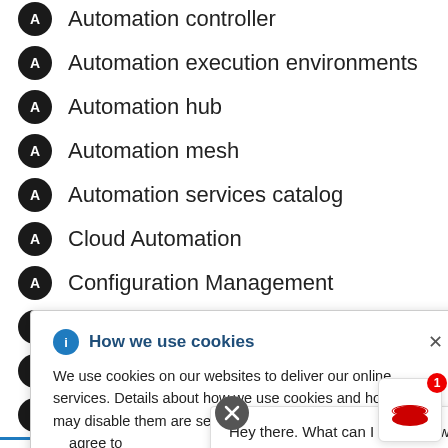Automation controller
Automation execution environments
Automation hub
Automation mesh
Automation services catalog
Cloud Automation
Configuration Management
Infrastructure
Network Automation
Security and Compliance
[Figure (screenshot): Cookie consent overlay popup with title 'How we use cookies', info icon, close X button, and body text about cookie usage with a Privacy Statement link. Also shows a chat assistant popup with text 'Hey there. What can I help you with today?' and Red Hat logo button with badge showing 1.]